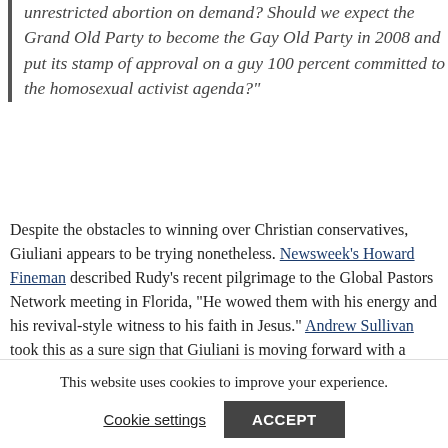unrestricted abortion on demand? Should we expect the Grand Old Party to become the Gay Old Party in 2008 and put its stamp of approval on a guy 100 percent committed to the homosexual activist agenda?"
Despite the obstacles to winning over Christian conservatives, Giuliani appears to be trying nonetheless. Newsweek's Howard Fineman described Rudy's recent pilgrimage to the Global Pastors Network meeting in Florida, "He wowed them with his energy and his revival-style witness to his faith in Jesus." Andrew Sullivan took this as a sure sign that Giuliani is moving forward with a planned 2008 campaign, "If Rudy is talking Jesus, he's going to run."
While the religious right views him with disdain, American voters apparently feel otherwise. Giuliani holds an early…
This website uses cookies to improve your experience.
Cookie settings
ACCEPT